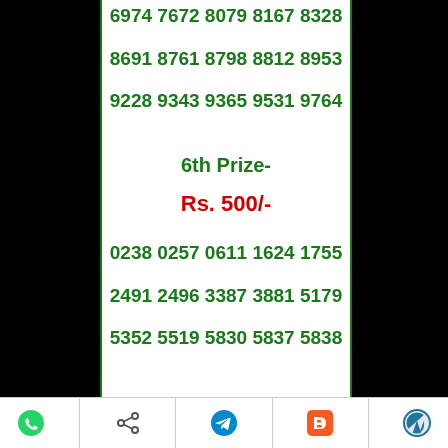6974 7672 8079 8167 8328
8691 8761 8798 8812 8953
9228 9343 9365 9531 9764
6th Prize-
Rs. 500/-
0238 0257 0611 1624 1755
2491 2496 3387 3881 5179
5352 5519 5830 5837 5838
Social share icons: WhatsApp, Share, Telegram, Blogger, WordPress